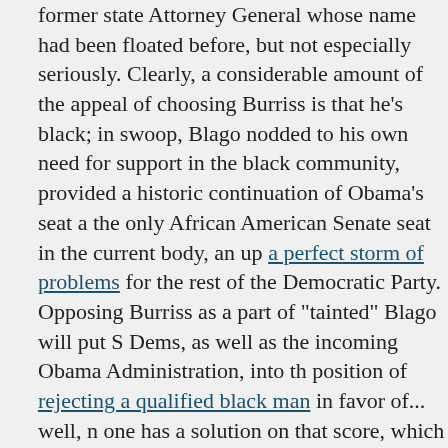former state Attorney General whose name had been floated before, but not especially seriously. Clearly, a considerable amount of the appeal of choosing Burriss is that he's black; in one swoop, Blago nodded to his own need for support in the black community, provided a historic continuation of Obama's seat as the only African American Senate seat in the current body, and set up a perfect storm of problems for the rest of the Democratic Party. Opposing Burriss as a part of "tainted" Blago will put Senate Dems, as well as the incoming Obama Administration, into the position of rejecting a qualified black man in favor of... well, no one has a solution on that score, which may also be Blago's trump card. It could take months to impeach him, and now Pat Fitzgerald has asked to wait until April to flesh out his indictment. No Senator... or the nice black man? Your call, Harry Reid.

Meanwhile, by all indications, Al Franken has pulled it off: after a messy election and recount drama, Franken will have just enough votes (well, 50, out of several million cast) to claim victory. Now Coleman will probably not go quietly, though, and the whole process - which, even if one approves of the outcome, was